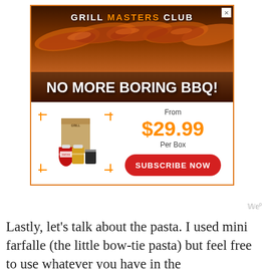[Figure (infographic): Grill Masters Club advertisement banner. Shows grilled BBQ ribs image at top with text 'GRILL MASTERS CLUB' (MASTERS in orange). Below ribs image: 'NO MORE BORING BBQ!' in white bold text. Bottom section shows product box photo with dashed orange corner brackets, price 'From $29.99 Per Box' in orange, and a red 'SUBSCRIBE NOW' button.]
Lastly, let’s talk about the pasta. I used mini farfalle (the little bow-tie pasta) but feel free to use whatever you have in the